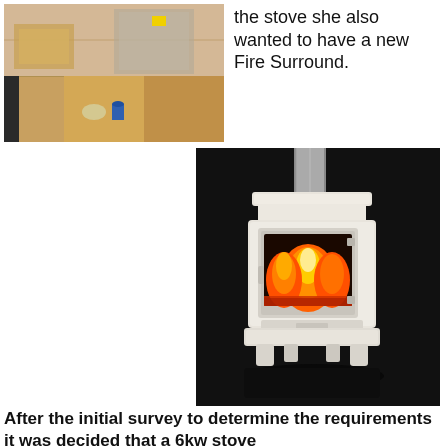[Figure (photo): Photo of a room with wooden flooring, cardboard boxes, tape and paint cans on the floor, and some equipment in the background.]
the stove she also wanted to have a new Fire Surround.
[Figure (photo): Photo of a white cream-coloured wood burning stove with a glass door showing bright orange flames inside, set against a dark background with a flue pipe extending upward.]
After the initial survey to determine the requirements it was decided that a 6kw stove